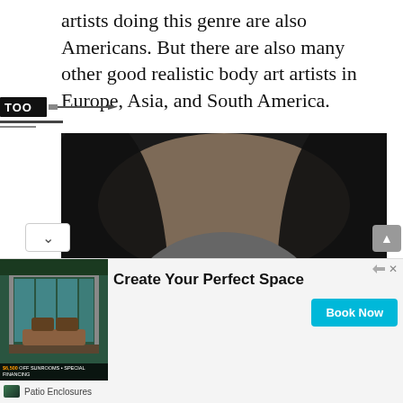artists doing this genre are also Americans. But there are also many other good realistic body art artists in Europe, Asia, and South America.
[Figure (logo): Tattoo logo mark with stylized text 'TOO' in black box and needle/pen graphic]
[Figure (photo): Black and white realistic tiger tattoo on a person's chest/body, showing a snarling tiger face with fangs, whiskers, and detailed fur shading]
[Figure (infographic): Advertisement banner: 'Create Your Perfect Space' for Patio Enclosures with a photo of a sunroom, a 'Book Now' button, and '$6,500 OFF SUNROOMS + SPECIAL FINANCING' offer text]